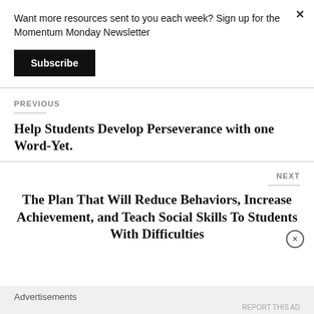Want more resources sent to you each week? Sign up for the Momentum Monday Newsletter
Subscribe
PREVIOUS
Help Students Develop Perseverance with one Word-Yet.
NEXT
The Plan That Will Reduce Behaviors, Increase Achievement, and Teach Social Skills To Students With Difficulties
Advertisements
REPORT THIS AD